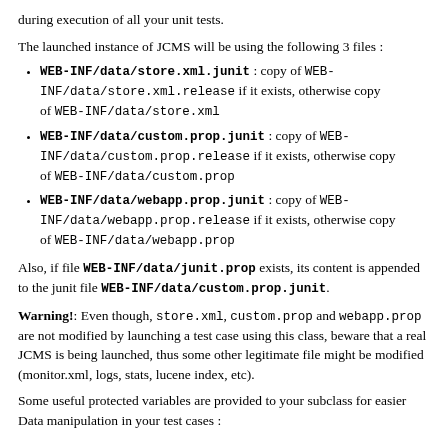during execution of all your unit tests.
The launched instance of JCMS will be using the following 3 files :
WEB-INF/data/store.xml.junit : copy of WEB-INF/data/store.xml.release if it exists, otherwise copy of WEB-INF/data/store.xml
WEB-INF/data/custom.prop.junit : copy of WEB-INF/data/custom.prop.release if it exists, otherwise copy of WEB-INF/data/custom.prop
WEB-INF/data/webapp.prop.junit : copy of WEB-INF/data/webapp.prop.release if it exists, otherwise copy of WEB-INF/data/webapp.prop
Also, if file WEB-INF/data/junit.prop exists, its content is appended to the junit file WEB-INF/data/custom.prop.junit.
Warning!: Even though, store.xml, custom.prop and webapp.prop are not modified by launching a test case using this class, beware that a real JCMS is being launched, thus some other legitimate file might be modified (monitor.xml, logs, stats, lucene index, etc).
Some useful protected variables are provided to your subclass for easier Data manipulation in your test cases :